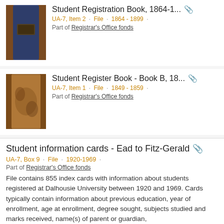[Figure (photo): Thumbnail image of a dark blue book cover with brown corners - Student Registration Book]
Student Registration Book, 1864-1...
UA-7, Item 2 · File · 1864 - 1899 ·
Part of Registrar's Office fonds
[Figure (photo): Thumbnail image of a worn brown book cover - Student Register Book]
Student Register Book - Book B, 18...
UA-7, Item 1 · File · 1849 - 1859 ·
Part of Registrar's Office fonds
Student information cards - Ead to Fitz-Gerald
UA-7, Box 9 · File · 1920-1969 ·
Part of Registrar's Office fonds
File contains 855 index cards with information about students registered at Dalhousie University between 1920 and 1969. Cards typically contain information about previous education, year of enrollment, age at enrollment, degree sought, subjects studied and marks received, name(s) of parent or guardian,